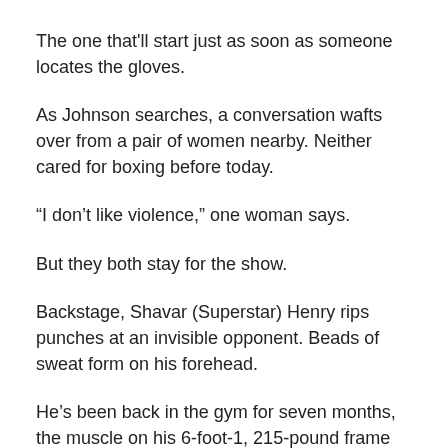The one that'll start just as soon as someone locates the gloves.
As Johnson searches, a conversation wafts over from a pair of women nearby. Neither cared for boxing before today.
“I don’t like violence,” one woman says.
But they both stay for the show.
Backstage, Shavar (Superstar) Henry rips punches at an invisible opponent. Beads of sweat form on his forehead.
He’s been back in the gym for seven months, the muscle on his 6-foot-1, 215-pound frame finally re-emerging. Last year he was among Canada’s best amateurs. By the end of November he intends to claim top spot for his own.